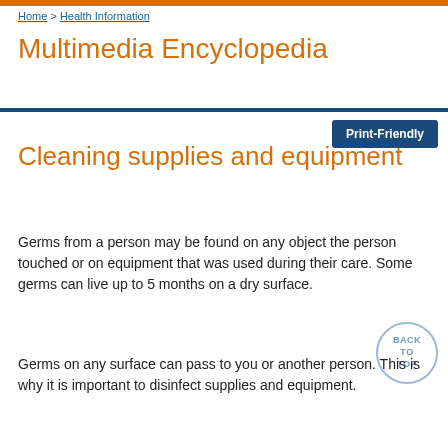Home > Health Information
Multimedia Encyclopedia
Print-Friendly
Cleaning supplies and equipment
Germs from a person may be found on any object the person touched or on equipment that was used during their care. Some germs can live up to 5 months on a dry surface.
Germs on any surface can pass to you or another person. This is why it is important to disinfect supplies and equipment.